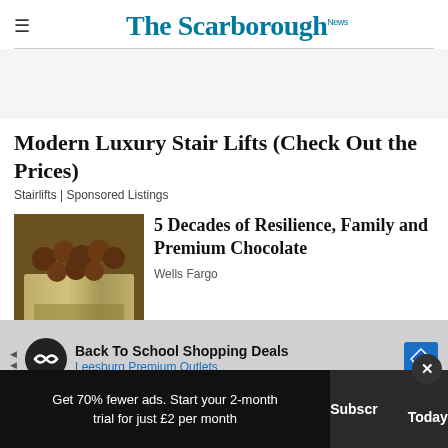The Scarborough News
Modern Luxury Stair Lifts (Check Out the Prices)
Stairlifts | Sponsored Listings
[Figure (photo): Photo of chocolate coins/truffles in a metallic bag]
5 Decades of Resilience, Family and Premium Chocolate
Wells Fargo
[Figure (screenshot): Ad banner: Back To School Shopping Deals - Leesburg Premium Outlets]
[Photos] If You Have Any Of These
Get 70% fewer ads. Start your 2-month trial for just £2 per month
Subscribe Today